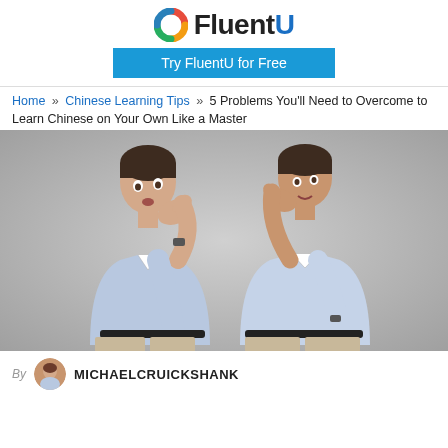FluentU
Try FluentU for Free
Home » Chinese Learning Tips » 5 Problems You'll Need to Overcome to Learn Chinese on Your Own Like a Master
5 Problems You'll Need to Overcome to Learn Chinese on Your Own Like a Master
[Figure (photo): Two men in blue dress shirts facing each other: one cupping his hand to his ear listening, the other cupping his hand around his mouth speaking, against a grey gradient background.]
By MICHAELCRUICKSHANK